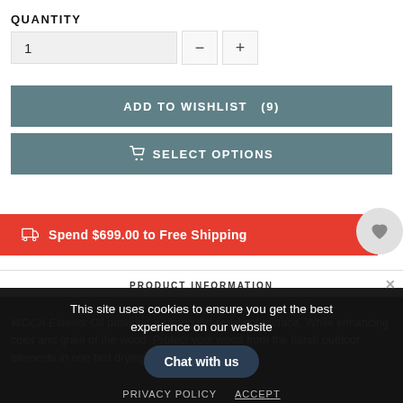QUANTITY
1   −   +
ADD TO WISHLIST  (9)
SELECT OPTIONS
Spend $699.00 to Free Shipping
PRODUCT INFORMATION
WOCA Exterior Oil provides a strong dirt-repellent surface. While enhancing color and grain of the wood. Protect your wood from the harsh outdoor elements in one fast drying coat.
This site uses cookies to ensure you get the best experience on our website
PRIVACY POLICY
ACCEPT
Chat with us